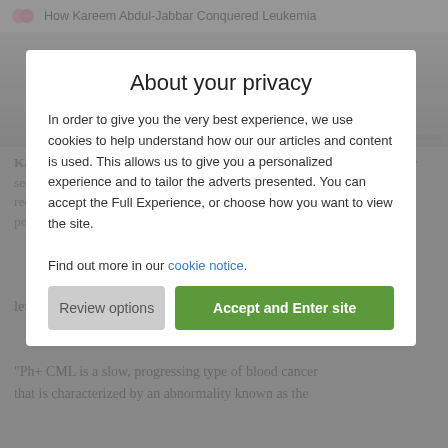How Kareem Abdul-Jabbar Conquered Leukemia
[Figure (photo): Background photo of Kareem Abdul-Jabbar, partially obscured by modal overlay. Photo credit: Courtesy of Kareem Abdul-Jabbar]
Kareem Abdul-Jabbar became a basketball phenomenon during his twenty seasons in the NBA. Now retired, he reflects on the life-changing news he received in 2008, when he was diagnosed with Philadelphia chromosome-positive chronic myeloid leukemia (Ph+ CML).
“Ph+ CML is a slow, progressing type of blood cancer that is characterized by an abnormality known as the
About your privacy
In order to give you the very best experience, we use cookies to help understand how our our articles and content is used. This allows us to give you a personalized experience and to tailor the adverts presented. You can accept the Full Experience, or choose how you want to view the site.
Find out more in our cookie notice.
Review options
Accept and Enter site